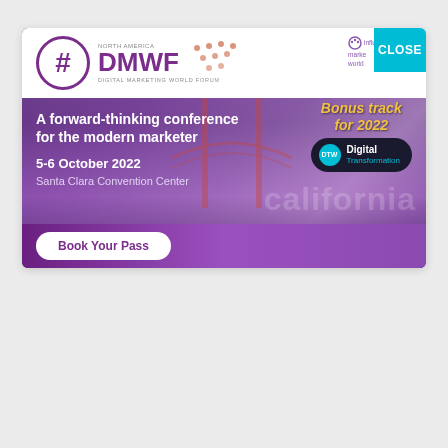[Figure (illustration): DMWF North America Digital Marketing World Forum conference advertisement banner. Shows the #DMWF logo in purple on white, with Golden Gate Bridge background in purple tones. Contains conference details: A forward-thinking conference for the modern marketer, 5-6 October 2022, Santa Clara Convention Center. Has a Bonus track for 2022 badge with DTW Digital Transformation pill. Book Your Pass button at bottom. CLOSE button in teal top right.]
#DMWF NORTH AMERICA DIGITAL MARKETING WORLD FORUM
A forward-thinking conference for the modern marketer
5-6 October 2022
Santa Clara Convention Center
Bonus track for 2022
DTW Digital Transformation
Book Your Pass
CLOSE